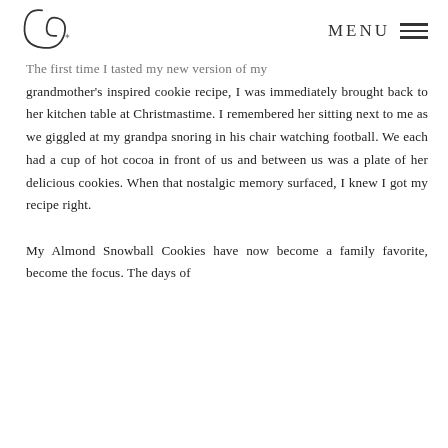MENU
The first time I tasted my new version of my grandmother's inspired cookie recipe, I was immediately brought back to her kitchen table at Christmastime. I remembered her sitting next to me as we giggled at my grandpa snoring in his chair watching football. We each had a cup of hot cocoa in front of us and between us was a plate of her delicious cookies. When that nostalgic memory surfaced, I knew I got my recipe right.
My Almond Snowball Cookies have now become a family favorite...